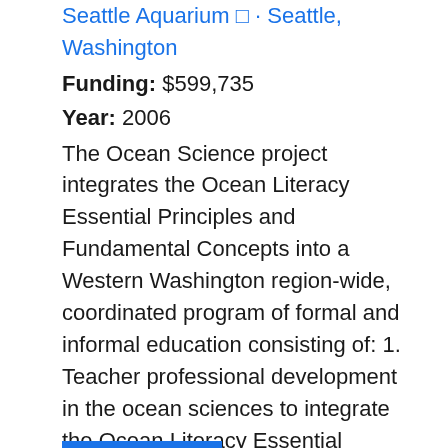Seattle Aquarium - Seattle, Washington
Funding: $599,735
Year: 2006
The Ocean Science project integrates the Ocean Literacy Essential Principles and Fundamental Concepts into a Western Washington region-wide, coordinated program of formal and informal education consisting of: 1. Teacher professional development in the ocean sciences to integrate the Ocean Literacy Essential Principles and Fundamental Concepts into inquiry-based marine science education and instruction; 2.